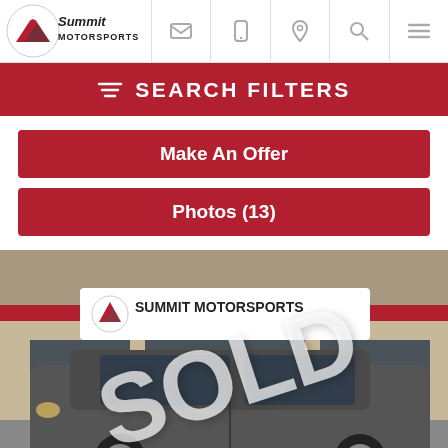[Figure (logo): Summit Motorsports logo with mountain graphic in top-left navigation bar]
SEARCH FILTERS
Make An Offer
Photos (13)
[Figure (photo): Photo of a dark grey SUV parked in front of Summit Motorsports dealership storefront with a large SOLD watermark overlay]